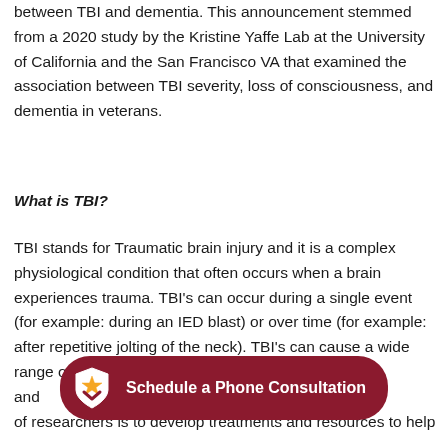between TBI and dementia. This announcement stemmed from a 2020 study by the Kristine Yaffe Lab at the University of California and the San Francisco VA that examined the association between TBI severity, loss of consciousness, and dementia in veterans.
What is TBI?
TBI stands for Traumatic brain injury and it is a complex physiological condition that often occurs when a brain experiences trauma. TBI's can occur during a single event (for example: during an IED blast) or over time (for example: after repetitive jolting of the neck). TBI's can cause a wide range of physical, cognitive, and… of researchers is to develop treatments and resources to help